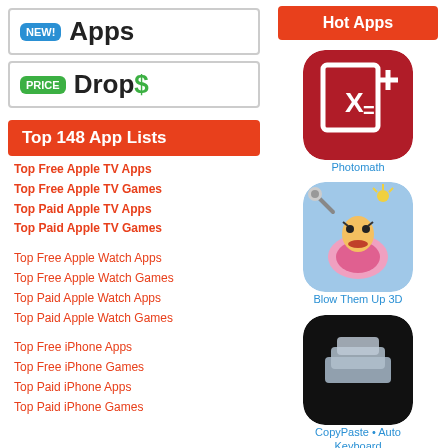[Figure (logo): NEW! Apps banner with blue badge and bold text]
[Figure (logo): PRICE Drops banner with green badge and bold text]
Top 148 App Lists
Top Free Apple TV Apps
Top Free Apple TV Games
Top Paid Apple TV Apps
Top Paid Apple TV Games
Top Free Apple Watch Apps
Top Free Apple Watch Games
Top Paid Apple Watch Apps
Top Paid Apple Watch Games
Top Free iPhone Apps
Top Free iPhone Games
Top Paid iPhone Apps
Top Paid iPhone Games
Hot Apps
[Figure (screenshot): Photomath app icon — dark red with X= formula symbol]
Photomath
[Figure (screenshot): Blow Them Up 3D app icon — colorful character with microphone]
Blow Them Up 3D
[Figure (screenshot): CopyPaste Auto Keyboard app icon — black background with layers icon]
CopyPaste • Auto Keyboard
[Figure (screenshot): Toca Boca style app icon — animated girl character]